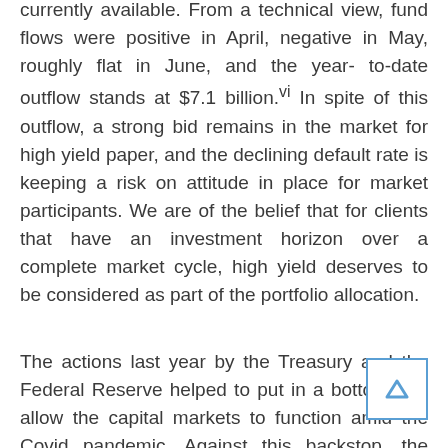currently available. From a technical view, fund flows were positive in April, negative in May, roughly flat in June, and the year-to-date outflow stands at $7.1 billion.vi In spite of this outflow, a strong bid remains in the market for high yield paper, and the declining default rate is keeping a risk on attitude in place for market participants. We are of the belief that for clients that have an investment horizon over a complete market cycle, high yield deserves to be considered as part of the portfolio allocation.
The actions last year by the Treasury and the Federal Reserve helped to put in a bottom and allow the capital markets to function amid the Covid pandemic. Against this backstop, the market has recovered.